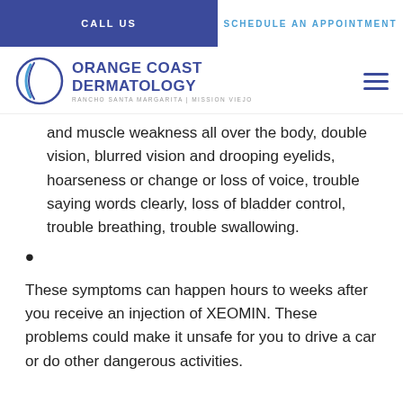CALL US | SCHEDULE AN APPOINTMENT
[Figure (logo): Orange Coast Dermatology logo with circular blue graphic and text: ORANGE COAST DERMATOLOGY, RANCHO SANTA MARGARITA | MISSION VIEJO]
and muscle weakness all over the body, double vision, blurred vision and drooping eyelids, hoarseness or change or loss of voice, trouble saying words clearly, loss of bladder control, trouble breathing, trouble swallowing.
These symptoms can happen hours to weeks after you receive an injection of XEOMIN. These problems could make it unsafe for you to drive a car or do other dangerous activities.